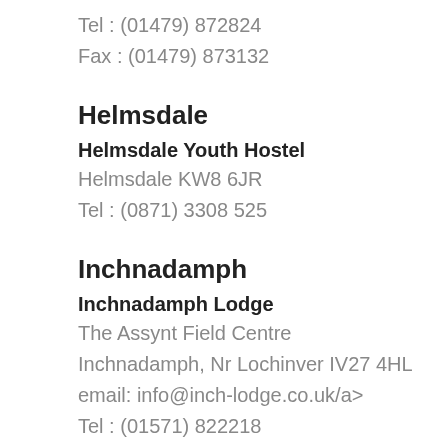Tel : (01479) 872824
Fax : (01479) 873132
Helmsdale
Helmsdale Youth Hostel
Helmsdale KW8 6JR
Tel : (0871) 3308 525
Inchnadamph
Inchnadamph Lodge
The Assynt Field Centre
Inchnadamph, Nr Lochinver IV27 4HL
email: info@inch-lodge.co.uk/a>
Tel : (01571) 822218